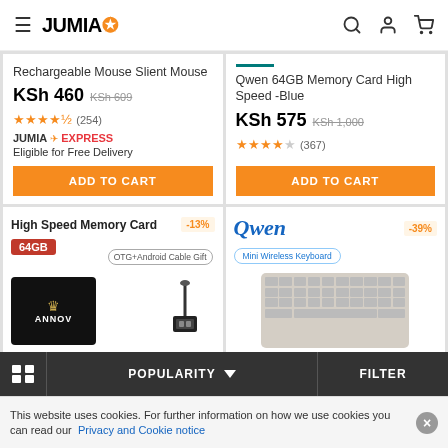JUMIA
Rechargeable Mouse Slient Mouse
KSh 460  KSh 609
★★★★½ (254)
JUMIA EXPRESS
Eligible for Free Delivery
ADD TO CART
Qwen 64GB Memory Card High Speed -Blue
KSh 575  KSh 1,000
★★★★☆ (367)
ADD TO CART
[Figure (screenshot): High Speed Memory Card 64GB product image with OTG+Android Cable Gift label, -13% discount badge]
[Figure (screenshot): Qwen Mini Wireless Keyboard product image, -39% discount badge]
POPULARITY ∨  FILTER
This website uses cookies. For further information on how we use cookies you can read our Privacy and Cookie notice